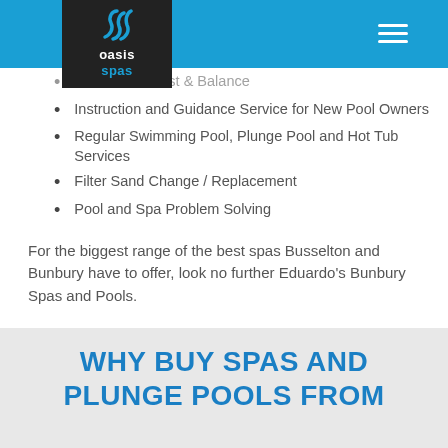Oasis Spas
Onsite Pool Test & Balance
Instruction and Guidance Service for New Pool Owners
Regular Swimming Pool, Plunge Pool and Hot Tub Services
Filter Sand Change / Replacement
Pool and Spa Problem Solving
For the biggest range of the best spas Busselton and Bunbury have to offer, look no further Eduardo's Bunbury Spas and Pools.
WHY BUY SPAS AND PLUNGE POOLS FROM